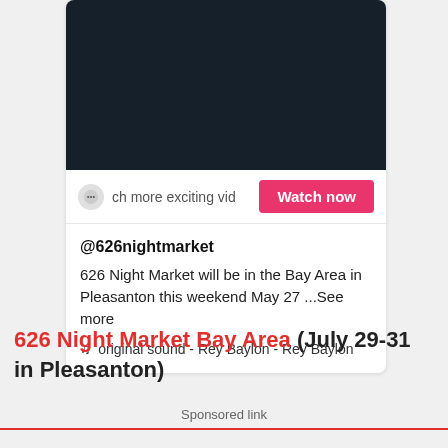[Figure (screenshot): TikTok video card with dark video thumbnail, chat icon, partial text 'ch more exciting vid', and a pink 'Watch now' button]
@626nightmarket
626 Night Market will be in the Bay Area in Pleasanton this weekend May 27 ...See more
♫  original sound - Rey Baylon - Rey Baylon
626 Night Market Bay Area (July 29-31 in Pleasanton)
Sponsored link